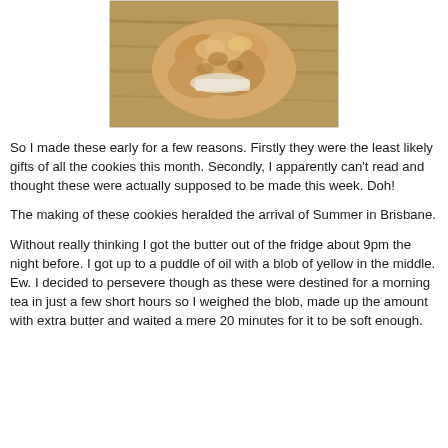[Figure (photo): Close-up photo of a baked cookie or scone on a wooden surface, showing golden-brown crumbly texture]
So I made these early for a few reasons. Firstly they were the least likely gifts of all the cookies this month. Secondly, I apparently can't read and thought these were actually supposed to be made this week. Doh!
The making of these cookies heralded the arrival of Summer in Brisbane.
Without really thinking I got the butter out of the fridge about 9pm the night before. I got up to a puddle of oil with a blob of yellow in the middle. Ew. I decided to persevere though as these were destined for a morning tea in just a few short hours so I weighed the blob, made up the amount with extra butter and waited a mere 20 minutes for it to be soft enough.